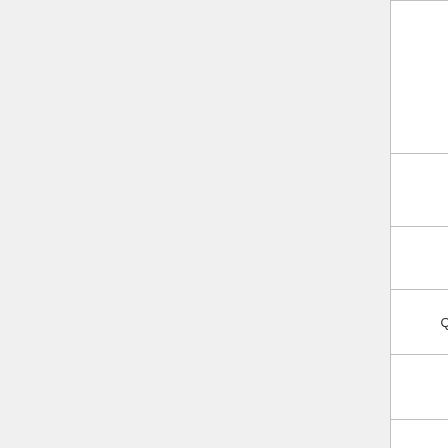| Device | Version | Notes |
| --- | --- | --- |
| Huawei E3372 | v6.xx | and Mo ne AT^ cha mo |
| Huawei E8372 | v6.28 | Wor id= |
| Telit LE910 | v6.xx | pp |
| Quectel EC20/EC21 | v6.xx | ppp |
| Quectel EC25 | v6.39 | ppp. w |
| Quectel EP06 | v6.42 | ppp. |
| Huawei E3276-150 | v6.xx |  |
| ZTE ME3630-E | v6.40RC26 |  |
|  |  |  |